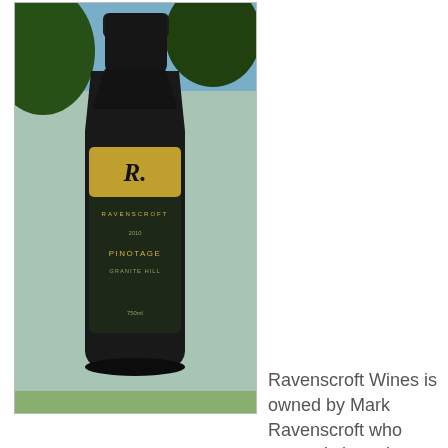[Figure (photo): Photo of a wine bottle labeled Ravenscroft Wines, Pinotage, Granite Hill, shown against an outdoor background]
Ravenscroft Wines is owned by Mark Ravenscroft who currently has about 450 Pinotage vines on a 0.7 acre plot. Marks says
“Progress on the Pinotage front has been a bit slow as I have had hail the last two Octobers. So limited quantities made - only getting about 800 kg and about 600-700 bottles. The wine at the moment shows Pinot characters, although with a bit more spice – a bit like Tempranillo.
I am the only one growing it in Queensland and did so for the uniqueness and my heritage, of